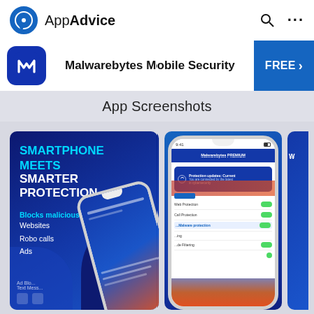AppAdvice
Malwarebytes Mobile Security  FREE >
App Screenshots
[Figure (screenshot): Malwarebytes Mobile Security app screenshots showing: (1) dark blue screen with text 'SMARTPHONE MEETS SMARTER PROTECTION' and 'Blocks malicious: Websites, Robo calls, Ads' with phone mockup; (2) phone mockup showing Protection updates screen with toggles for Web Protection, Call Protection, Ad/Malware Protection; (3) partially visible third screenshot]